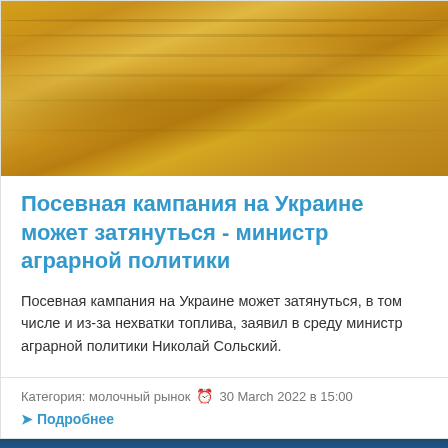[Figure (photo): Aerial view of golden wheat fields with rolling hills, warm yellow-orange tones]
Посевная кампания на Украине может затянуться - министр аграрной политики
Посевная кампания на Украине может затянуться, в том числе и из-за нехватки топлива, заявил в среду министр аграрной политики Николай Сольский.
Категория: молочный рынок  30 March 2022 в 15:00  Подробнее
[Figure (photo): Aerial or wide-angle view of blue sky with clouds over dark landscape or sea]